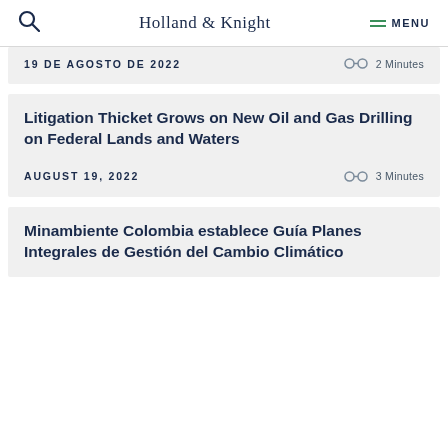Holland & Knight  MENU
19 DE AGOSTO DE 2022  OO 2 Minutes
Litigation Thicket Grows on New Oil and Gas Drilling on Federal Lands and Waters
AUGUST 19, 2022  OO 3 Minutes
Minambiente Colombia establece Guía Planes Integrales de Gestión del Cambio Climático